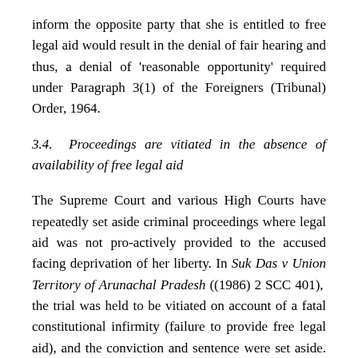inform the opposite party that she is entitled to free legal aid would result in the denial of fair hearing and thus, a denial of 'reasonable opportunity' required under Paragraph 3(1) of the Foreigners (Tribunal) Order, 1964.
3.4. Proceedings are vitiated in the absence of availability of free legal aid
The Supreme Court and various High Courts have repeatedly set aside criminal proceedings where legal aid was not pro-actively provided to the accused facing deprivation of her liberty. In Suk Das v Union Territory of Arunachal Pradesh ((1986) 2 SCC 401), the trial was held to be vitiated on account of a fatal constitutional infirmity (failure to provide free legal aid), and the conviction and sentence were set aside. Similarly, in